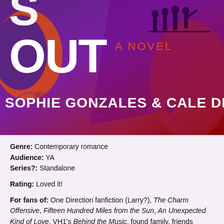[Figure (illustration): Book cover of a novel showing 'OUT A NOVEL' in large white text with 'SOPHIE GONZALES & CALE DIETRICH' below. Purple, magenta, and dark red background with silhouettes of people at the top right and illustrated figures at the bottom. An orange decorative shape is visible at the left.]
Genre: Contemporary romance
Audience: YA
Series?: Standalone

Rating: Loved it!

For fans of: One Direction fanfiction (Larry?), The Charm Offensive, Fifteen Hundred Miles from the Sun, An Unexpected Kind of Love, VH1's Behind the Music, found family, friends